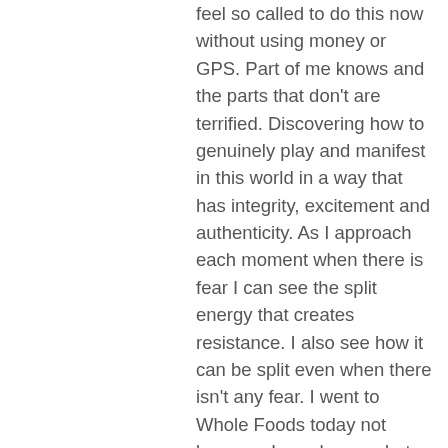feel so called to do this now without using money or GPS. Part of me knows and the parts that don't are terrified. Discovering how to genuinely play and manifest in this world in a way that has integrity, excitement and authenticity. As I approach each moment when there is fear I can see the split energy that creates resistance. I also see how it can be split even when there isn't any fear. I went to Whole Foods today not because I was hungry, but because I was excited to try a few samples. I love Whole Foods though I also see the underlying energy that feels like I am just there to take something from there because I know i am not purchasing anything rather than co-create an experience and celebrating Whole Foods. I wasn't hungry - just